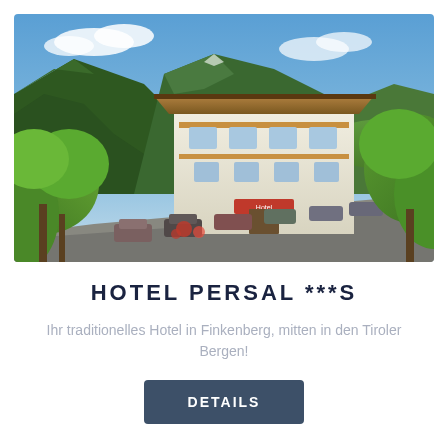[Figure (photo): Aerial/elevated view of Hotel Persal, a traditional Tyrolean-style building with wooden balconies and white facade, set in a mountain valley surrounded by green forested mountains and trees. Cars are parked in front. Blue sky with clouds above.]
HOTEL PERSAL ***S
Ihr traditionelles Hotel in Finkenberg, mitten in den Tiroler Bergen!
Details